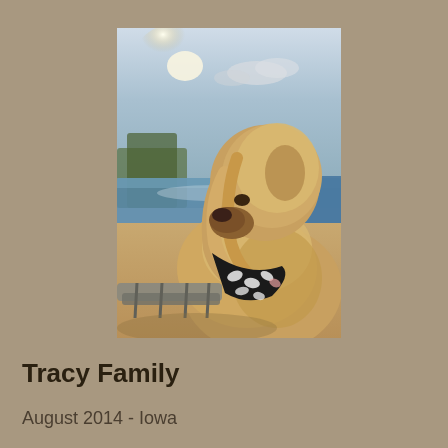[Figure (photo): A dog with long golden/blonde fur and a black and white patterned bandana around its neck, viewed from behind/side profile, sitting near a pool with sandy ground and trees visible in the background under a bright sky.]
Tracy Family
August 2014 - Iowa